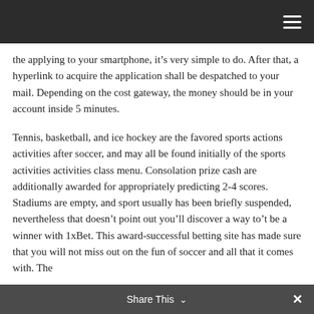[Navigation bar with hamburger menu]
the applying to your smartphone, it’s very simple to do. After that, a hyperlink to acquire the application shall be despatched to your mail. Depending on the cost gateway, the money should be in your account inside 5 minutes.
Tennis, basketball, and ice hockey are the favored sports actions activities after soccer, and may all be found initially of the sports activities activities class menu. Consolation prize cash are additionally awarded for appropriately predicting 2-4 scores. Stadiums are empty, and sport usually has been briefly suspended, nevertheless that doesn’t point out you’ll discover a way to’t be a winner with 1xBet. This award-successful betting site has made sure that you will not miss out on the fun of soccer and all that it comes with. The
Share This ∨  ×